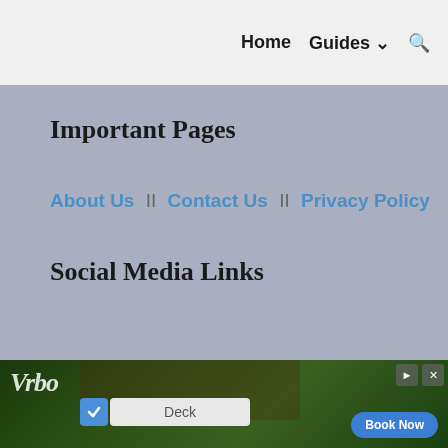Home   Guides ⌄   🔍
Important Pages
About Us II Contact Us II Privacy Policy
Social Media Links
[Figure (photo): Vrbo advertisement banner showing outdoor deck party scene with a search box pre-filled with 'Deck' and a 'Book Now' button]